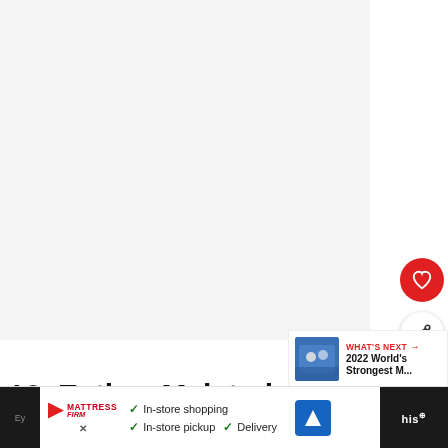[Figure (photo): Large light gray blank image area (video/image placeholder)]
[Figure (infographic): Red circular heart/favorite button]
[Figure (infographic): White circular share button with share icon]
[Figure (photo): WHAT'S NEXT panel with thumbnail of athletes in blue uniforms and text '2022 World's Strongest M...']
10. Eythor Melsted
[Figure (infographic): Advertisement bar: Mattress Firm ad with in-store shopping, in-store pickup, Delivery checkmarks, navigation icon, and partial dark sidebar with 'his' text]